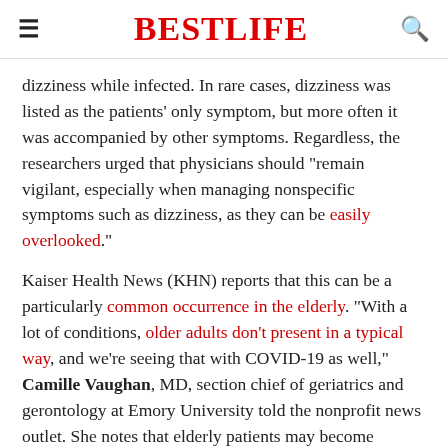BESTLIFE
dizziness while infected. In rare cases, dizziness was listed as the patients' only symptom, but more often it was accompanied by other symptoms. Regardless, the researchers urged that physicians should "remain vigilant, especially when managing nonspecific symptoms such as dizziness, as they can be easily overlooked."
Kaiser Health News (KHN) reports that this can be a particularly common occurrence in the elderly. "With a lot of conditions, older adults don't present in a typical way, and we're seeing that with COVID-19 as well," Camille Vaughan, MD, section chief of geriatrics and gerontology at Emory University told the nonprofit news outlet. She notes that elderly patients may become